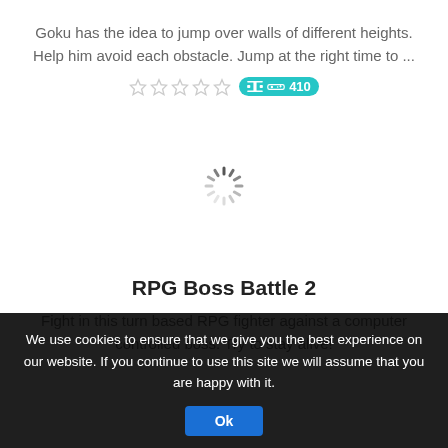Goku has the idea to jump over walls of different heights. Help him avoid each obstacle. Jump at the right time to ...
[Figure (other): Star rating row (5 empty stars) with a teal game-controller badge showing 410 plays]
[Figure (other): Loading spinner (radial lines, dark gray) indicating content is loading]
RPG Boss Battle 2
Fight in this turn based RPG fighter against a computer controlled boss. Try to stay alive!
We use cookies to ensure that we give you the best experience on our website. If you continue to use this site we will assume that you are happy with it.